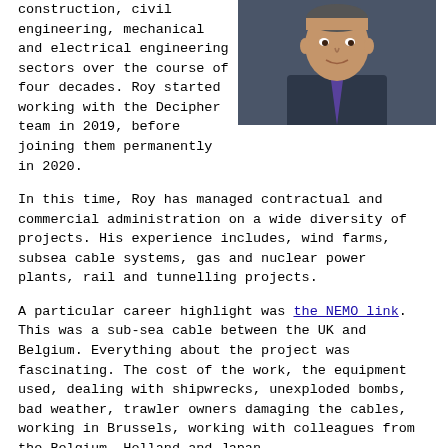construction, civil engineering, mechanical and electrical engineering sectors over the course of four decades. Roy started working with the Decipher team in 2019, before joining them permanently in 2020.
[Figure (photo): Professional headshot of a middle-aged man in a dark suit and tie, photographed against a dark background.]
In this time, Roy has managed contractual and commercial administration on a wide diversity of projects. His experience includes, wind farms, subsea cable systems, gas and nuclear power plants, rail and tunnelling projects.
A particular career highlight was the NEMO link. This was a sub-sea cable between the UK and Belgium. Everything about the project was fascinating. The cost of the work, the equipment used, dealing with shipwrecks, unexploded bombs, bad weather, trawler owners damaging the cables, working in Brussels, working with colleagues from the Belgium, Holland and Japan.
Roy's Professional Memberships and Qualifications Include: